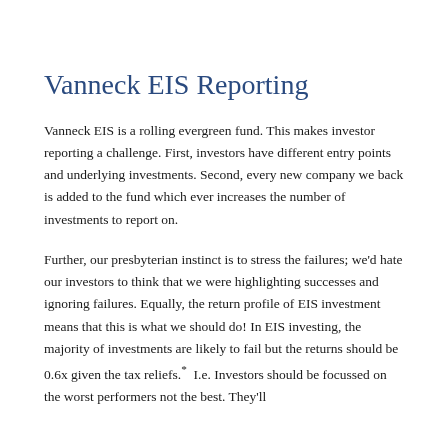Vanneck EIS Reporting
Vanneck EIS is a rolling evergreen fund. This makes investor reporting a challenge. First, investors have different entry points and underlying investments. Second, every new company we back is added to the fund which ever increases the number of investments to report on.
Further, our presbyterian instinct is to stress the failures; we'd hate our investors to think that we were highlighting successes and ignoring failures. Equally, the return profile of EIS investment means that this is what we should do! In EIS investing, the majority of investments are likely to fail but the returns should be 0.6x given the tax reliefs.* I.e. Investors should be focussed on the worst performers not the best. They'll